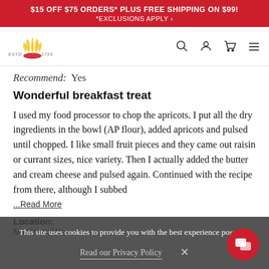$15 OFF $75 ORDERS* PLUS FREE SHIPPING ON $99! *EXCLUSIONS APPLY >
[Figure (logo): King Arthur Baking Company logo with wheat crown, ESTD 1790]
Recommend:  Yes
Wonderful breakfast treat
I used my food processor to chop the apricots. I put all the dry ingredients in the bowl (AP flour), added apricots and pulsed until chopped. I like small fruit pieces and they came out raisin or currant sizes, nice variety. Then I actually added the butter and cream cheese and pulsed again. Continued with the recipe from there, although I subbed
...Read More
Location:
Madison, WI
This site uses cookies to provide you with the best experience possible. Read our Privacy Policy  X